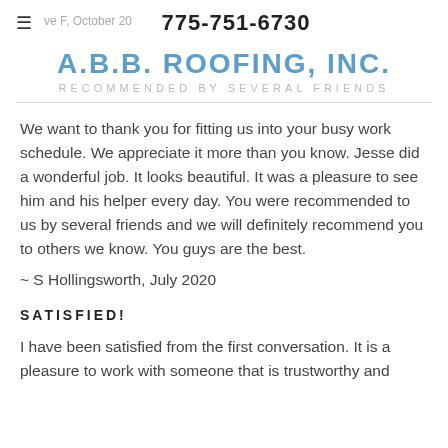≡  ve F, October 20…   775-751-6730
A.B.B. ROOFING, INC.
RECOMMENDED BY SEVERAL FRIENDS
We want to thank you for fitting us into your busy work schedule. We appreciate it more than you know. Jesse did a wonderful job. It looks beautiful. It was a pleasure to see him and his helper every day. You were recommended to us by several friends and we will definitely recommend you to others we know. You guys are the best.
~ S Hollingsworth, July 2020
SATISFIED!
I have been satisfied from the first conversation. It is a pleasure to work with someone that is trustworthy and